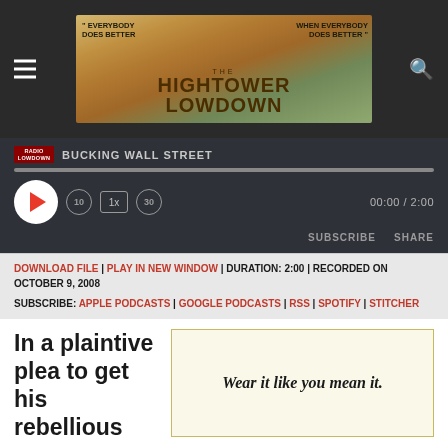The Hightower Lowdown — "Everybody Does Better When Everybody Does Better"
[Figure (screenshot): Audio player widget showing BUCKING WALL STREET episode, with play button, progress bar, skip controls (back 10, 1x speed, forward 30), time 00:00 / 2:00, SUBSCRIBE and SHARE buttons]
DOWNLOAD FILE | PLAY IN NEW WINDOW | DURATION: 2:00 | RECORDED ON OCTOBER 9, 2008
SUBSCRIBE: APPLE PODCASTS | GOOGLE PODCASTS | RSS | SPOTIFY | STITCHER
In a plaintive plea to get his rebellious
Wear it like you mean it.